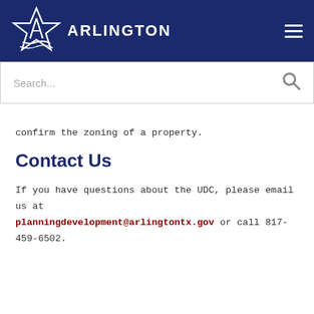[Figure (logo): City of Arlington star logo with stylized 'A' in white on navy background, with 'ARLINGTON' text in white capital letters]
confirm the zoning of a property.
Contact Us
If you have questions about the UDC, please email us at planningdevelopment@arlingtontx.gov or call 817-459-6502.